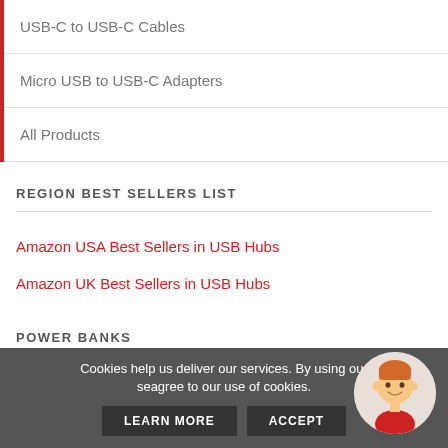USB-C to USB-C Cables
Micro USB to USB-C Adapters
All Products
REGION BEST SELLERS LIST
Amazon USA Best Sellers in USB Hubs
Amazon UK Best Sellers in USB Hubs
POWER BANKS
Cookies help us deliver our services. By using our services, you agree to our use of cookies.
LEARN MORE
ACCEPT